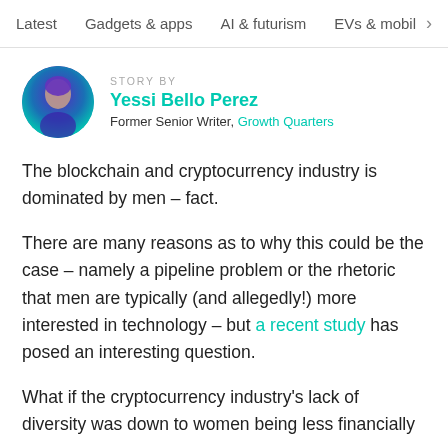Latest   Gadgets & apps   AI & futurism   EVs & mobil  >
STORY BY
Yessi Bello Perez
Former Senior Writer, Growth Quarters
The blockchain and cryptocurrency industry is dominated by men – fact.
There are many reasons as to why this could be the case – namely a pipeline problem or the rhetoric that men are typically (and allegedly!) more interested in technology – but a recent study has posed an interesting question.
What if the cryptocurrency industry's lack of diversity was down to women being less financially